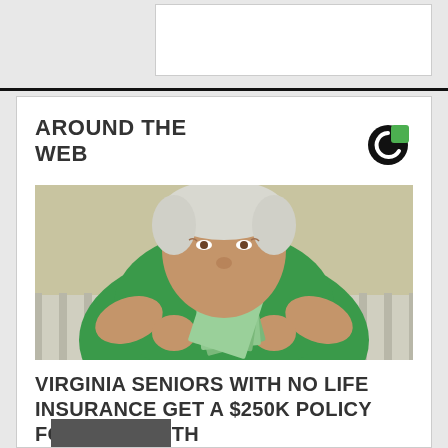AROUND THE WEB
[Figure (photo): Elderly person in green sweater holding fan of US dollar bills up to their face, sitting on a striped couch]
VIRGINIA SENIORS WITH NO LIFE INSURANCE GET A $250K POLICY FOR $18/MONTH
Smart Lifestyle Trends